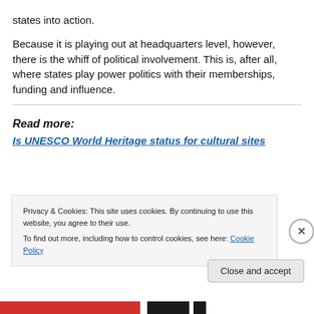states into action.
Because it is playing out at headquarters level, however, there is the whiff of political involvement. This is, after all, where states play power politics with their memberships, funding and influence.
Read more:
Is UNESCO World Heritage status for cultural sites
Privacy & Cookies: This site uses cookies. By continuing to use this website, you agree to their use.
To find out more, including how to control cookies, see here: Cookie Policy
Close and accept